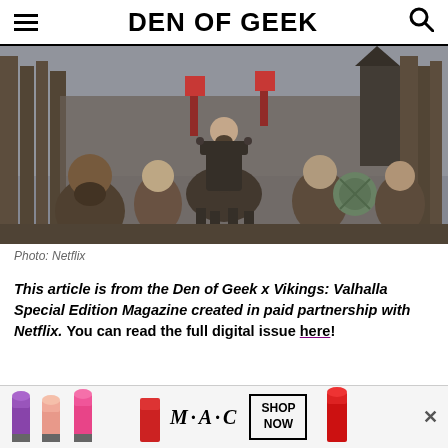DEN OF GEEK
[Figure (photo): Scene from Vikings: Valhalla — a warrior on horseback rides through a crowd of Viking warriors with shields and weapons, dramatic medieval setting with wooden fortifications in background.]
Photo: Netflix
This article is from the Den of Geek x Vikings: Valhalla Special Edition Magazine created in paid partnership with Netflix. You can read the full digital issue here!
[Figure (photo): MAC cosmetics advertisement showing lipsticks in purple, pink, and red colors, with MAC logo and SHOP NOW button.]